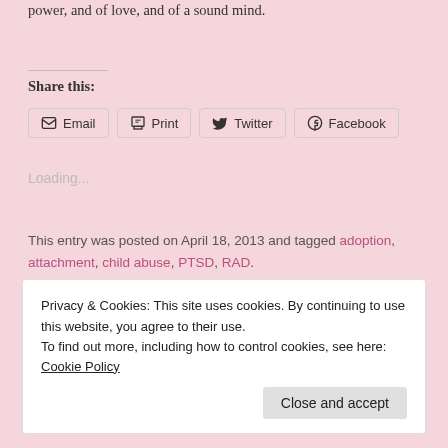power, and of love, and of a sound mind.
Share this:
Email
Print
Twitter
Facebook
Loading...
This entry was posted on April 18, 2013 and tagged adoption, attachment, child abuse, PTSD, RAD.
2 Comments
Privacy & Cookies: This site uses cookies. By continuing to use this website, you agree to their use.
To find out more, including how to control cookies, see here: Cookie Policy